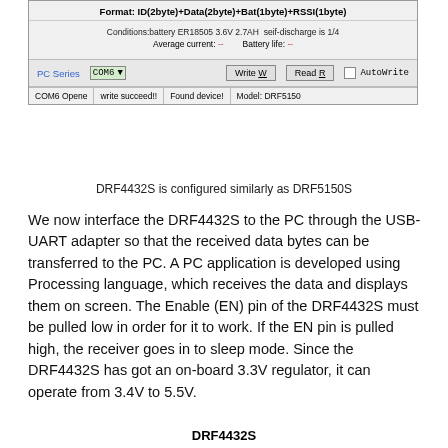[Figure (screenshot): Screenshot of DRF5150 PC configuration software showing format string 'ID(2byte)+Data(2byte)+Bat(1byte)+RSSI(1byte)', battery conditions, COM6 port selector, Write and Read buttons, AutoWrite checkbox, and status bar showing 'COM6 Opene', 'write succeed!!', 'Found device!', 'Model: DRF5150']
DRF4432S is configured similarly as DRF5150S
We now interface the DRF4432S to the PC through the USB-UART adapter so that the received data bytes can be transferred to the PC. A PC application is developed using Processing language, which receives the data and displays them on screen. The Enable (EN) pin of the DRF4432S must be pulled low in order for it to work. If the EN pin is pulled high, the receiver goes in to sleep mode. Since the DRF4432S has got an on-board 3.3V regulator, it can operate from 3.4V to 5.5V.
DRF4432S